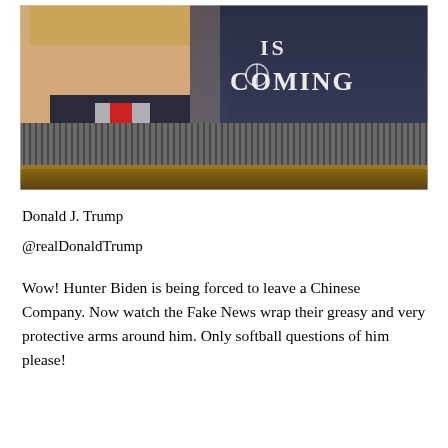[Figure (photo): Photo of Donald Trump in suit and red tie, overlaid with text 'IS COMING' in Game of Thrones style font, and showing a border wall with vertical metal slats at the bottom]
Donald J. Trump
@realDonaldTrump
Wow! Hunter Biden is being forced to leave a Chinese Company. Now watch the Fake News wrap their greasy and very protective arms around him. Only softball questions of him please!